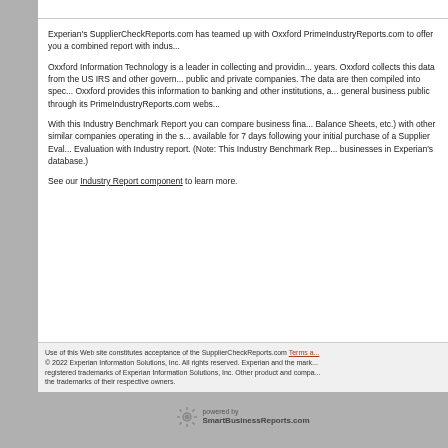Experian's SupplierCheckReports.com has teamed up with Oxxford PrimeIndustryReports.com to offer you a combined report with indus...
Oxxford Information Technology is a leader in collecting and providin... years. Oxxford collects this data from the US IRS and other govern... public and private companies. The data are then compiled into spec... Oxxford provides this information to banking and other institutions, a... general business public through its PrimeIndustryReports.com webs...
With this Industry Benchmark Report you can compare business fina... Balance Sheets, etc.) with other similar companies operating in the s... available for 7 days following your initial purchase of a Supplier Eval... Evaluation with Industry report. (Note: This Industry Benchmark Rep... businesses in Experian's database.)
See our Industry Report component to learn more.
Use of this Web site constitutes acceptance of the SupplierCheckReports.com Terms a... © 2022 Experian Information Solutions, Inc. All rights reserved. Experian and the mark... registered trademarks of Experian Information Solutions, Inc. Other product and compa... the trademarks of their respective owners.